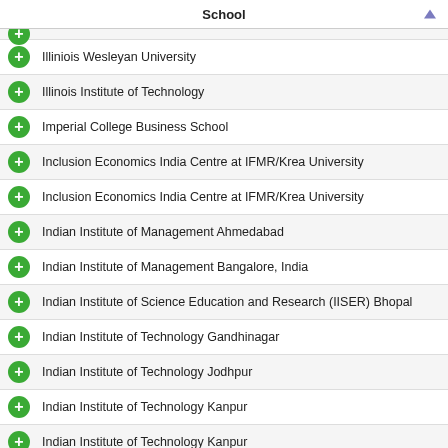School
Illiniois Wesleyan University
Illinois Institute of Technology
Imperial College Business School
Inclusion Economics India Centre at IFMR/Krea University
Inclusion Economics India Centre at IFMR/Krea University
Indian Institute of Management Ahmedabad
Indian Institute of Management Bangalore, India
Indian Institute of Science Education and Research (IISER) Bhopal
Indian Institute of Technology Gandhinagar
Indian Institute of Technology Jodhpur
Indian Institute of Technology Kanpur
Indian Institute of Technology Kanpur
Indian School of Business